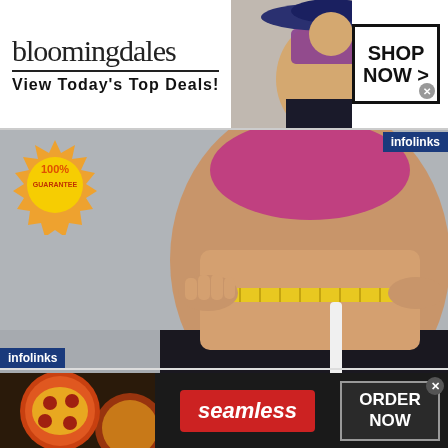[Figure (screenshot): Bloomingdales advertisement banner with model wearing wide-brimmed hat, text 'View Today's Top Deals!' and 'SHOP NOW >' button]
[Figure (photo): Woman measuring her waist with yellow tape measure, 100% Guarantee badge overlay, infolinks label top right]
[Figure (photo): Java Burn product container (black) with text alongside: 'The world's first and only 100% safe and natural proprietary formula, that when combined with']
[Figure (screenshot): Seamless food delivery advertisement with pizza image, red Seamless button, and ORDER NOW button, infolinks badge bottom left]